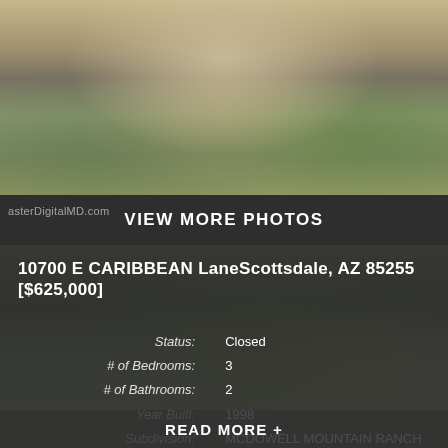[Figure (photo): Exterior photo of a desert landscape home with cactus, flowering shrubs, and shadowed driveway.]
VIEW MORE PHOTOS
asterDigitalMD.com
10700 E CARIBBEAN LaneScottsdale, AZ 85255 [$625,000]
| Label | Value |
| --- | --- |
| Status: | Closed |
| # of Bedrooms: | 3 |
| # of Bathrooms: | 2 |
| Year Built: | 1998 |
| Subdivision: | MCDOWELL MOUNTAIN RANCH |
READ MORE +